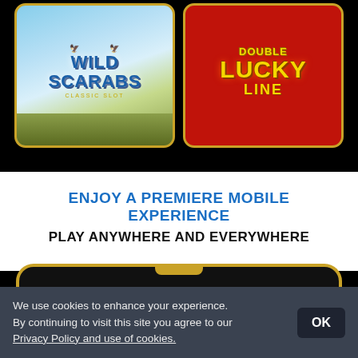[Figure (screenshot): Wild Scarabs slot game card with Egyptian theme, blue sky and pyramids background]
[Figure (screenshot): Double Lucky Line slot game card with red background and gold text]
ENJOY A PREMIERE MOBILE EXPERIENCE
PLAY ANYWHERE AND EVERYWHERE
[Figure (photo): Smartphone with gold frame showing casino app, top portion visible]
We use cookies to enhance your experience. By continuing to visit this site you agree to our Privacy Policy and use of cookies.